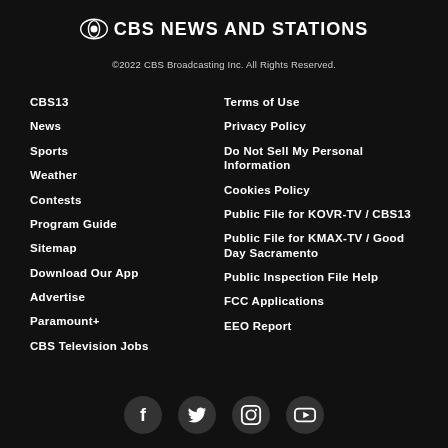CBS NEWS AND STATIONS
©2022 CBS Broadcasting Inc. All Rights Reserved.
CBS13
News
Sports
Weather
Contests
Program Guide
Sitemap
Download Our App
Advertise
Paramount+
CBS Television Jobs
Terms of Use
Privacy Policy
Do Not Sell My Personal Information
Cookies Policy
Public File for KOVR-TV / CBS13
Public File for KMAX-TV / Good Day Sacramento
Public Inspection File Help
FCC Applications
EEO Report
[Figure (illustration): Social media icons: Facebook, Twitter, Instagram, YouTube]